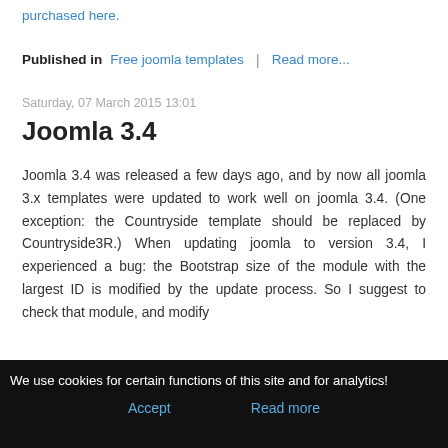purchased here.
Published in  Free joomla templates  |  Read more...
Saturday, 07 March 2015 13:01
Joomla 3.4
Joomla 3.4 was released a few days ago, and by now all joomla 3.x templates were updated to work well on joomla 3.4. (One exception: the Countryside template should be replaced by Countryside3R.) When updating joomla to version 3.4, I experienced a bug: the Bootstrap size of the module with the largest ID is modified by the update process. So I suggest to check that module, and modify
We use cookies for certain functions of this site and for analytics!  Accept  Read more